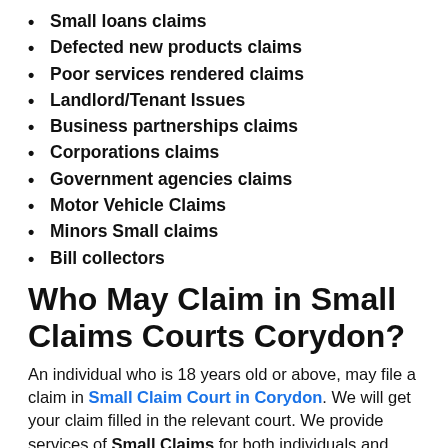Small loans claims
Defected new products claims
Poor services rendered claims
Landlord/Tenant Issues
Business partnerships claims
Corporations claims
Government agencies claims
Motor Vehicle Claims
Minors Small claims
Bill collectors
Who May Claim in Small Claims Courts Corydon?
An individual who is 18 years old or above, may file a claim in Small Claim Court in Corydon. We will get your claim filled in the relevant court. We provide services of Small Claims for both individuals and companies in Corydon. We serve you in an entire way like submitting papers, serving your claim in a proper legal way and file